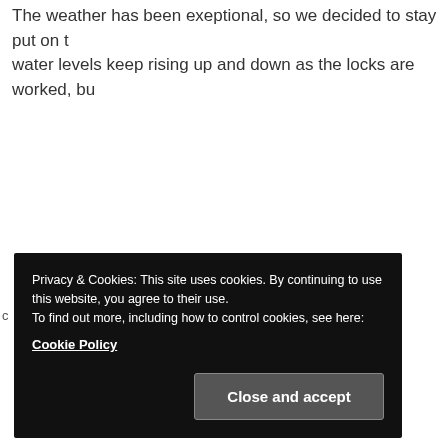The weather has been exeptional, so we decided to stay put on t... water levels keep rising up and down as the locks are worked, bu...
Privacy & Cookies: This site uses cookies. By continuing to use this website, you agree to their use.
To find out more, including how to control cookies, see here:
Cookie Policy
Close and accept